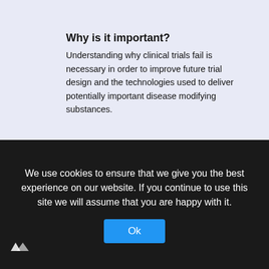Why is it important?
Understanding why clinical trials fail is necessary in order to improve future trial design and the technologies used to deliver potentially important disease modifying substances.
[Figure (infographic): A partial donut/gauge chart with a red arc on a light grey circle, showing a percentage value. Teal scroll-up buttons visible on the right side.]
We use cookies to ensure that we give you the best experience on our website. If you continue to use this site we will assume that you are happy with it.